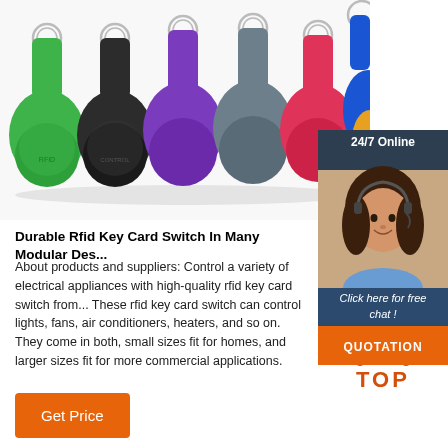[Figure (photo): Product photo of multiple RFID key fob tags in various colors (green, black, purple, gray, pink, red, blue, yellow/orange) arranged in a row, each with a metal ring at the top. White background.]
[Figure (photo): 24/7 Online chat widget showing a woman with a headset smiling, with a dark blue/teal background, 'Click here for free chat!' text, and an orange QUOTATION button.]
Durable Rfid Key Card Switch In Many Modular Des...
About products and suppliers: Control a variety of electrical appliances with high-quality rfid key card switch from... These rfid key card switch can control lights, fans, air conditioners, heaters, and so on. They come in both, small sizes fit for homes, and larger sizes fit for more commercial applications.
[Figure (other): TOP button with orange upward arrow dots and bold orange TOP text]
Get Price